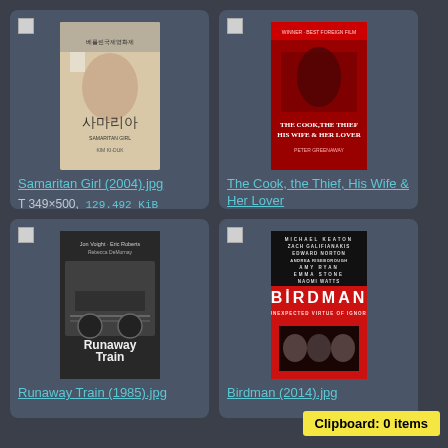[Figure (photo): Movie poster for Samaritan Girl (2004)]
Samaritan Girl (2004).jpg
T 349×500,  129.492 KiB
[Figure (photo): Movie poster for The Cook, the Thief, His Wife & Her Lover]
The Cook, the Thief, His Wife & Her Lover
T 328×500,  119.918 KiB
[Figure (photo): Movie poster for Runaway Train (1985)]
Runaway Train (1985).jpg
[Figure (photo): Movie poster for Birdman]
Birdman (2014).jpg
Clipboard: 0 items